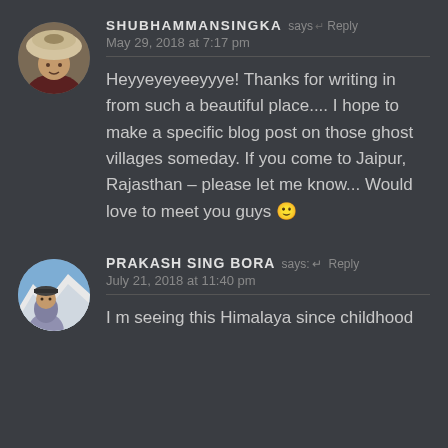[Figure (photo): Circular avatar of Shubhammansingka — person wearing a fur hat, winter outdoor setting]
SHUBHAMMANSINGKA says Reply
May 29, 2018 at 7:17 pm
Heyyeyeyeeyyye! Thanks for writing in from such a beautiful place.... I hope to make a specific blog post on those ghost villages someday. If you come to Jaipur, Rajasthan – please let me know... Would love to meet you guys 🙂
[Figure (photo): Circular avatar of Prakash Sing Bora — person outdoors with mountains in background]
PRAKASH SING BORA says: Reply
July 21, 2018 at 11:40 pm
I m seeing this Himalaya since childhood